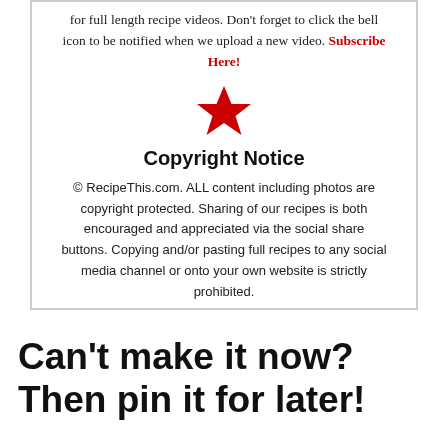for full length recipe videos. Don't forget to click the bell icon to be notified when we upload a new video. Subscribe Here!
[Figure (illustration): Red star icon used as a decorative divider]
Copyright Notice
© RecipeThis.com. ALL content including photos are copyright protected. Sharing of our recipes is both encouraged and appreciated via the social share buttons. Copying and/or pasting full recipes to any social media channel or onto your own website is strictly prohibited.
Can't make it now? Then pin it for later!